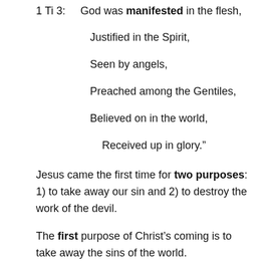1 Ti 3: God was manifested in the flesh,
Justified in the Spirit,
Seen by angels,
Preached among the Gentiles,
Believed on in the world,
Received up in glory.”
Jesus came the first time for two purposes: 1) to take away our sin and 2) to destroy the work of the devil.
The first purpose of Christ’s coming is to take away the sins of the world.
1 John 3: 5 “And you know that He was manifested to take away our sins…